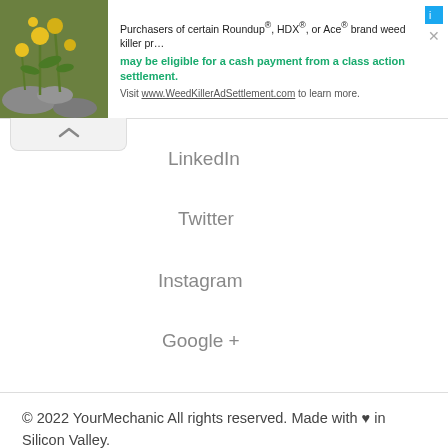[Figure (screenshot): Advertisement banner: green plant photo on left, text about Roundup/HDX/Ace weed killer class action settlement with link to WeedKillerAdSettlement.com, and close/info buttons on right]
LinkedIn
Twitter
Instagram
Google +
[Figure (logo): BBB Accredited Business badge]
[Figure (logo): Norton Secured badge]
[Figure (logo): Download on the App Store button]
[Figure (logo): Get it on Google Play button]
© 2022 YourMechanic All rights reserved. Made with ♥ in Silicon Valley.